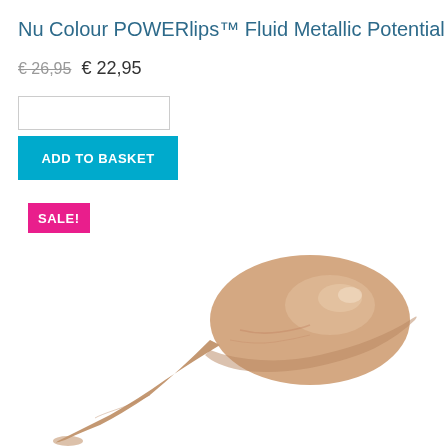Nu Colour POWERlips™ Fluid Metallic Potential e
€ 26,95  € 22,95
ADD TO BASKET
SALE!
[Figure (photo): Close-up swatch of a metallic beige/nude fluid lip color product smeared on a white background]